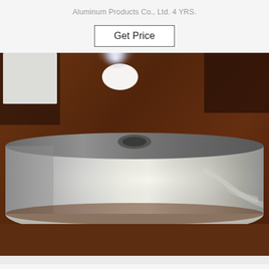Aluminum Products Co., Ltd. 4 YRS.
Get Price
[Figure (photo): A roll of shiny aluminum foil tape or strip sitting on a dark wooden surface, with a bright light reflection visible at the top center of the image.]